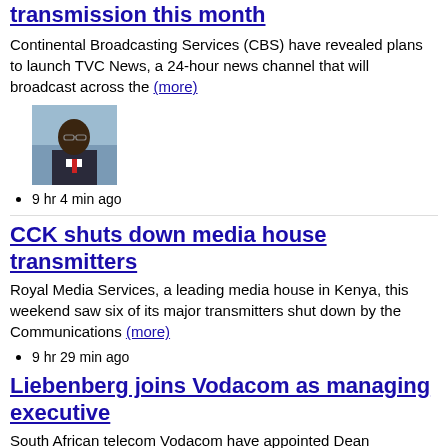transmission this month
Continental Broadcasting Services (CBS) have revealed plans to launch TVC News, a 24-hour news channel that will broadcast across the (more)
[Figure (photo): Photo of a man in suit at a press conference]
9 hr 4 min ago
CCK shuts down media house transmitters
Royal Media Services, a leading media house in Kenya, this weekend saw six of its major transmitters shut down by the Communications (more)
9 hr 29 min ago
Liebenberg joins Vodacom as managing executive
South African telecom Vodacom have appointed Dean